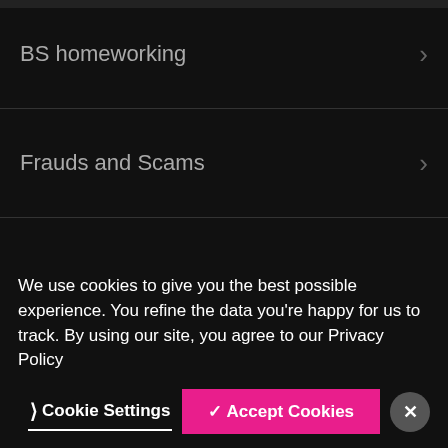BS homeworking
Frauds and Scams
Clientspace
Mailing preferences
We use cookies to give you the best possible experience. You refine the data you're happy for us to track. By using our site, you agree to our Privacy Policy
Cookie Settings  ✓ Accept Cookies